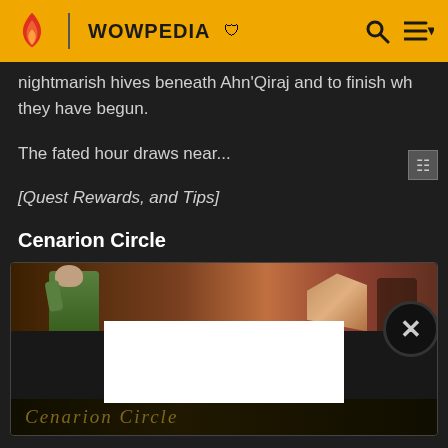WOWPEDIA
nightmarish hives beneath Ahn'Qiraj and to finish wh they have begun.
The fated hour draws near...
[Quest Rewards, and Tips]
Cenarion Circle
[Figure (screenshot): Screenshot of a World of Warcraft scene showing a character in green robes with an advertisement overlay and Cenarion Circle watermark text at the bottom]
War is brewing in the distant lands of Silithus. All over